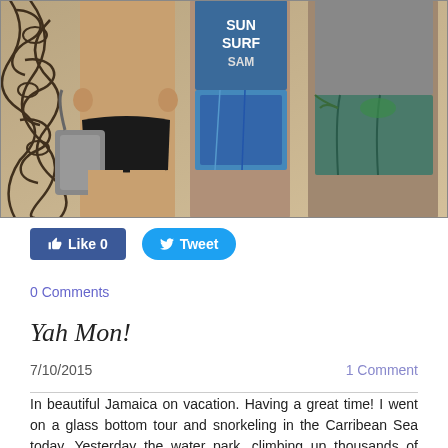[Figure (photo): Photo of people in swimwear standing in front of a decorative iron scroll wall. Three people visible from approximately waist down or full body, wearing swimsuits and board shorts.]
Like 0   Tweet
0 Comments
Yah Mon!
7/10/2015   1 Comment
In beautiful Jamaica on vacation. Having a great time! I went on a glass bottom tour and snorkeling in the Carribean Sea today. Yesterday the water park, climbing up thousands of stairs to go through a tube at lighting